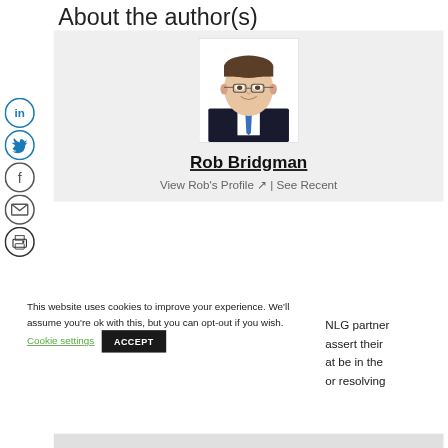About the author(s)
[Figure (photo): Headshot photo of Rob Bridgman, a man in a dark suit and blue tie wearing glasses, smiling]
Rob Bridgman
View Rob's Profile ↗ | See Recent
[Figure (other): Social media sharing icons column: LinkedIn, Twitter, Facebook, Email, Print]
This website uses cookies to improve your experience. We'll assume you're ok with this, but you can opt-out if you wish.  Cookie settings  ACCEPT
NLG partner assert their at be in the or resolving